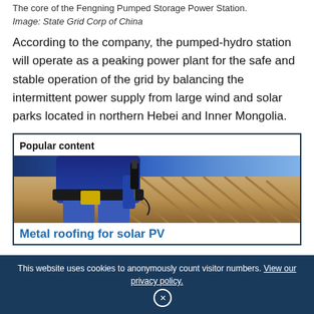The core of the Fengning Pumped Storage Power Station.
Image: State Grid Corp of China
According to the company, the pumped-hydro station will operate as a peaking power plant for the safe and stable operation of the grid by balancing the intermittent power supply from large wind and solar parks located in northern Hebei and Inner Mongolia.
Popular content
[Figure (photo): Photo of a worker in blue clothing and tool belt drilling into metal roof panels, with solar panels visible, taken from above against a blue sky.]
Metal roofing for solar PV
This website uses cookies to anonymously count visitor numbers. View our privacy policy.